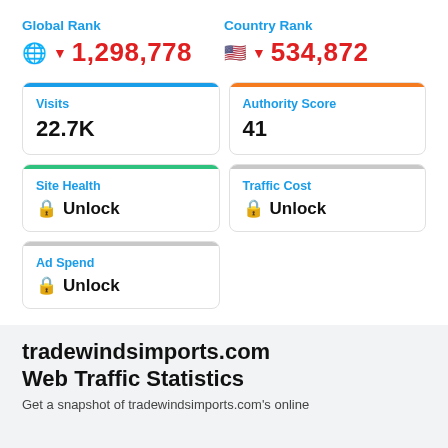Global Rank
▼ 1,298,778
Country Rank
▼ 534,872
Visits
22.7K
Authority Score
41
Site Health
Unlock
Traffic Cost
Unlock
Ad Spend
Unlock
tradewindsimports.com
Web Traffic Statistics
Get a snapshot of tradewindsimports.com's online